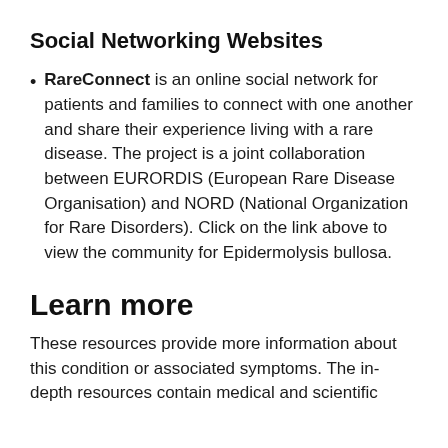Social Networking Websites
RareConnect is an online social network for patients and families to connect with one another and share their experience living with a rare disease. The project is a joint collaboration between EURORDIS (European Rare Disease Organisation) and NORD (National Organization for Rare Disorders). Click on the link above to view the community for Epidermolysis bullosa.
Learn more
These resources provide more information about this condition or associated symptoms. The in-depth resources contain medical and scientific